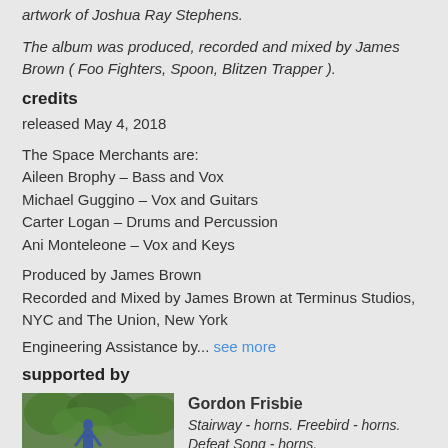artwork of Joshua Ray Stephens.
The album was produced, recorded and mixed by James Brown ( Foo Fighters, Spoon, Blitzen Trapper ).
credits
released May 4, 2018
The Space Merchants are:
Aileen Brophy – Bass and Vox
Michael Guggino – Vox and Guitars
Carter Logan – Drums and Percussion
Ani Monteleone – Vox and Keys
Produced by James Brown
Recorded and Mixed by James Brown at Terminus Studios, NYC and The Union, New York
Engineering Assistance by...  see more
supported by
[Figure (photo): Thumbnail photo of Gordon Frisbie, a person outdoors in a natural setting.]
Gordon Frisbie
Stairway - horns. Freebird - horns. Defeat Song - horns.
Favorite track: Defeat Song